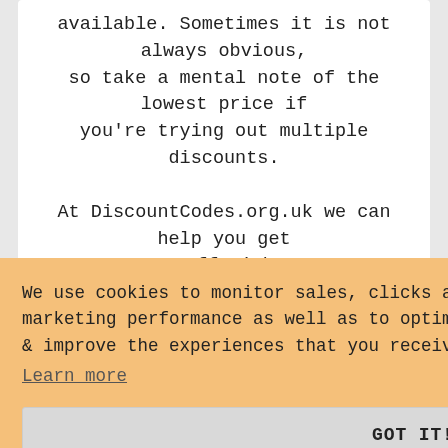available. Sometimes it is not always obvious, so take a mental note of the lowest price if you're trying out multiple discounts.

At DiscountCodes.org.uk we can help you get some money off right now. Any applicable Flower Station return policies should still apply, so don't be afraid to save some money. The best discount that we have (ever) seen for
We use cookies to monitor sales, clicks and marketing performance as well as to optimise & improve the experiences that you receive.
Learn more
GOT IT!